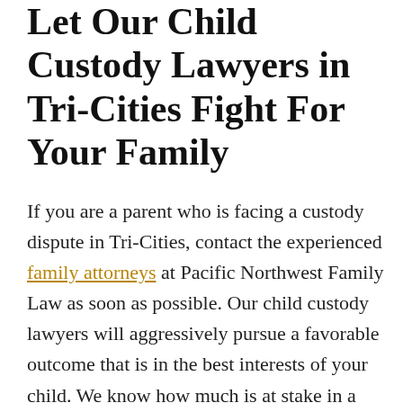Let Our Child Custody Lawyers in Tri-Cities Fight For Your Family
If you are a parent who is facing a custody dispute in Tri-Cities, contact the experienced family attorneys at Pacific Northwest Family Law as soon as possible. Our child custody lawyers will aggressively pursue a favorable outcome that is in the best interests of your child. We know how much is at stake in a child custody dispute, which is why we are committed to achieving the results you desire. To schedule a consultation with our child